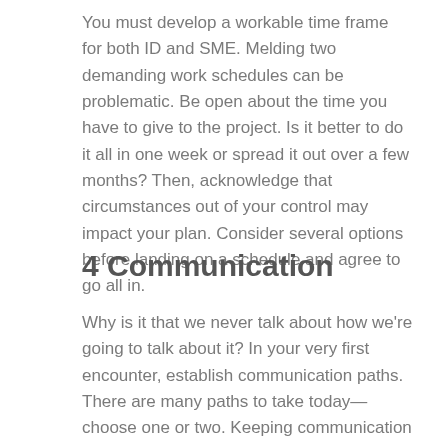You must develop a workable time frame for both ID and SME. Melding two demanding work schedules can be problematic. Be open about the time you have to give to the project. Is it better to do it all in one week or spread it out over a few months? Then, acknowledge that circumstances out of your control may impact your plan. Consider several options before landing on a schedule and agree to go all in.
4 Communication
Why is it that we never talk about how we're going to talk about it? In your very first encounter, establish communication paths. There are many paths to take today—choose one or two. Keeping communication